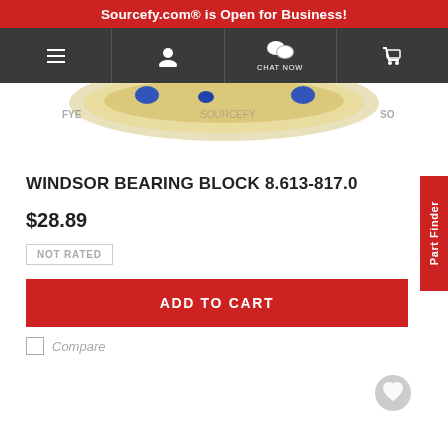Sourcefy.com® is Open for Business!
[Figure (screenshot): Navigation bar with hamburger menu, user icon, chat now icon with speech bubbles, and cart icon on dark gray background]
[Figure (photo): Partial view of a bearing block product with blue and gold components, watermarked with SOURCEFY text]
WINDSOR BEARING BLOCK 8.613-817.0
$28.89
NOT RATED
ADD TO CART
Compare
[Figure (illustration): Gray heart/favorite icon circle button]